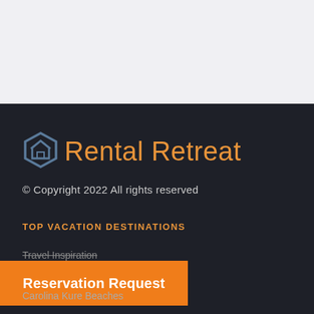[Figure (logo): Rental Retreat logo with house icon in blue-grey and text in orange]
© Copyright 2022 All rights reserved
TOP VACATION DESTINATIONS
Travel Inspiration
Reservation Request
Carolina Kure Beaches